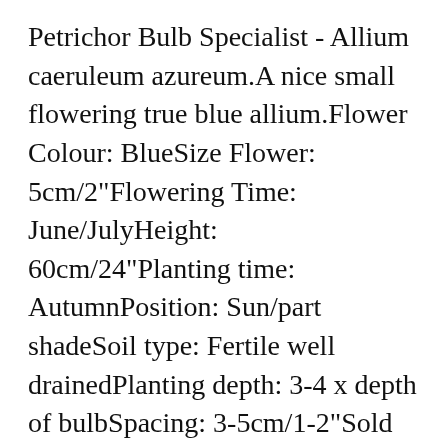Petrichor Bulb Specialist - Allium caeruleum azureum.A nice small flowering true blue allium.Flower Colour: BlueSize Flower: 5cm/2"Flowering Time: June/JulyHeight: 60cm/24"Planting time: AutumnPosition: Sun/part shadeSoil type: Fertile well drainedPlanting depth: 3-4 x depth of bulbSpacing: 3-5cm/1-2"Sold as: BulbHardiness: Fully hardy Remove and discard foliage after a hard frost in fall. pot size guide. We are very sorry, but due to state agricultural restrictions, we are not permitted to ship Allium bulbs to Idaho, or to the following five counties in the State of Washington: Adams, Benton, Franklin, Grant and Klickitat. You can check to see if you